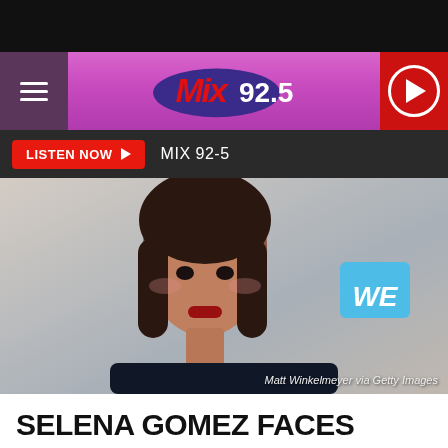[Figure (screenshot): Mix 92.5 radio station website header with purple gradient background, hamburger menu on left, Mix 92.5 logo in center, red play button on right]
LISTEN NOW ▶  MIX 92-5
[Figure (photo): Photo of Selena Gomez at an event in front of a white background with a WE charity logo. Photo credit: Matt Winkelmeyer via Getty Images]
Matt Winkelmeyer via Getty Images
SELENA GOMEZ FACES